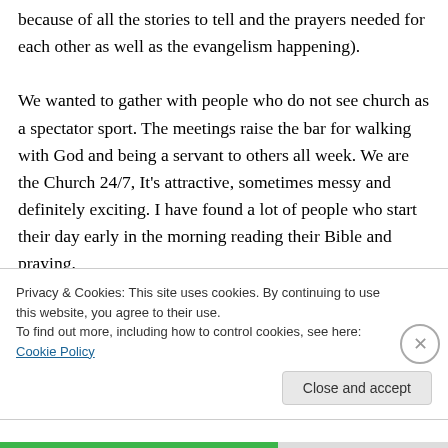because of all the stories to tell and the prayers needed for each other as well as the evangelism happening). We wanted to gather with people who do not see church as a spectator sport. The meetings raise the bar for walking with God and being a servant to others all week. We are the Church 24/7, It's attractive, sometimes messy and definitely exciting. I have found a lot of people who start their day early in the morning reading their Bible and praying.
Privacy & Cookies: This site uses cookies. By continuing to use this website, you agree to their use. To find out more, including how to control cookies, see here: Cookie Policy
Close and accept